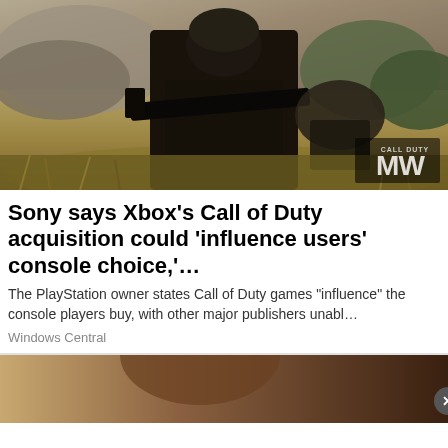[Figure (screenshot): Call of Duty Modern Warfare game screenshot showing a soldier in tactical gear holding a weapon in foreground with another soldier in background, in an outdoor battlefield setting. MW (Modern Warfare) logo visible in bottom right corner.]
Sony says Xbox’s Call of Duty acquisition could ‘influence users’ console choice,’…
The PlayStation owner states Call of Duty games "influence" the console players buy, with other major publishers unabl…
Windows Central
[Figure (photo): Partial view of another news article image, partially obscured by an advertisement overlay with a close button.]